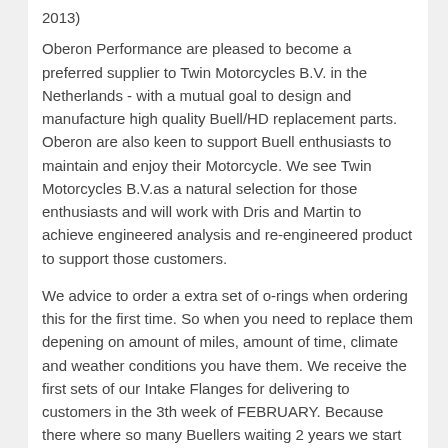2013)
Oberon Performance are pleased to become a preferred supplier to Twin Motorcycles B.V. in the Netherlands - with a mutual goal to design and manufacture high quality Buell/HD replacement parts. Oberon are also keen to support Buell enthusiasts to maintain and enjoy their Motorcycle. We see Twin Motorcycles B.V.as a natural selection for those enthusiasts and will work with Dris and Martin to achieve engineered analysis and re-engineered product to support those customers.
We advice to order a extra set of o-rings when ordering this for the first time. So when you need to replace them depening on amount of miles, amount of time, climate and weather conditions you have them. We receive the first sets of our Intake Flanges for delivering to customers in the 3th week of FEBRUARY. Because there where so many Buellers waiting 2 years we start taking orders and payments so we can ship as soon as they arrive.
click here for ordering the intake flange:
https://www.twinmotorcycles.nl/webshop/artikel.asp?guid=YXHFSC&aid=4130&cid=0&s=TMnewflange&a&aname=Buell_and